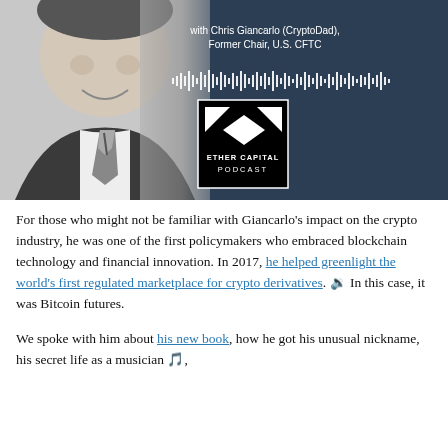[Figure (photo): Podcast banner image showing a smiling man in a suit and tie on the left (black and white photo), a dark navy background on the right with text 'with Chris Giancarlo (CryptoDad), Former Chair, U.S. CFTC', a waveform graphic, and the Ether Capital Podcast logo (white geometric shapes on black square, with text ETHER CAPITAL PODCAST).]
For those who might not be familiar with Giancarlo's impact on the crypto industry, he was one of the first policymakers who embraced blockchain technology and financial innovation. In 2017, he helped greenlight the world's first regulated marketplace for crypto derivatives. 🔊 In this case, it was Bitcoin futures.
We spoke with him about his new book, how he got his unusual nickname, his secret life as a musician 🎵,